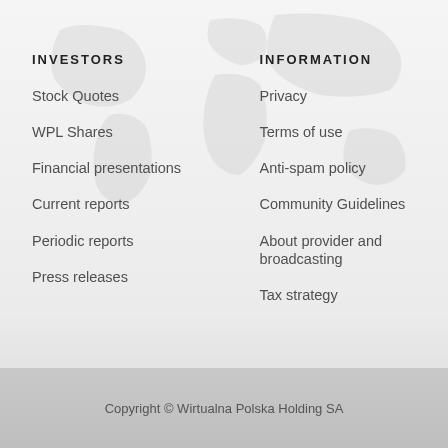INVESTORS
Stock Quotes
WPL Shares
Financial presentations
Current reports
Periodic reports
Press releases
INFORMATION
Privacy
Terms of use
Anti-spam policy
Community Guidelines
About provider and broadcasting
Tax strategy
Copyright © Wirtualna Polska Holding SA